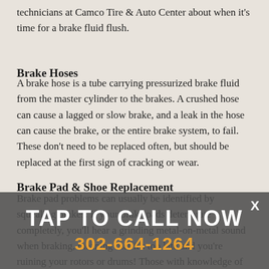technicians at Camco Tire & Auto Center about when it's time for a brake fluid flush.
Brake Hoses
A brake hose is a tube carrying pressurized brake fluid from the master cylinder to the brakes. A crushed hose can cause a lagged or slow brake, and a leak in the hose can cause the brake, or the entire brake system, to fail. These don't need to be replaced often, but should be replaced at the first sign of cracking or wear.
Brake Pad & Shoe Replacement
Brake pad problems can usually be identified by squealing brakes. If your brake pads deteriorate completely, you'll hear a grinding metal-on-metal sound when braking, meaning that it's too late and you're ruining your rotors or drums! Those with knowledge of auto repair may be able to fix this at home, but you should always see an auto
[Figure (other): Overlay banner with 'TAP TO CALL NOW' text and phone number 302-664-1264 with a close X button, semi-transparent dark gray background]